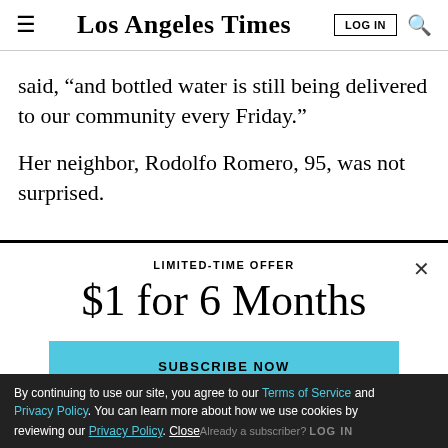Los Angeles Times
said, “and bottled water is still being delivered to our community every Friday.”
Her neighbor, Rodolfo Romero, 95, was not surprised.
LIMITED-TIME OFFER
$1 for 6 Months
SUBSCRIBE NOW
By continuing to use our site, you agree to our Terms of Service and Privacy Policy. You can learn more about how we use cookies by reviewing our Privacy Policy. Close Already a subscriber? LOG IN